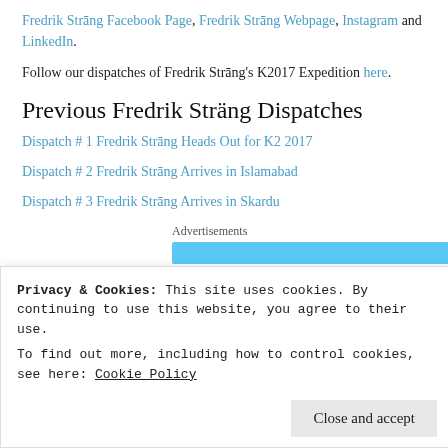Fredrik Strang Facebook Page, Fredrik Strang Webpage, Instagram and LinkedIn.
Follow our dispatches of Fredrik Strang's K2017 Expedition here.
Previous Fredrik Sträng Dispatches
Dispatch # 1 Fredrik Strang Heads Out for K2 2017
Dispatch # 2 Fredrik Strang Arrives in Islamabad
Dispatch # 3 Fredrik Strang Arrives in Skardu
Advertisements
Privacy & Cookies: This site uses cookies. By continuing to use this website, you agree to their use. To find out more, including how to control cookies, see here: Cookie Policy
Close and accept